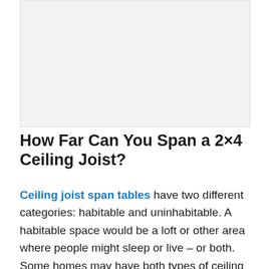[Figure (photo): Placeholder image area for a photo related to ceiling joists or construction, shown as a light grey rectangle.]
How Far Can You Span a 2×4 Ceiling Joist?
Ceiling joist span tables have two different categories: habitable and uninhabitable. A habitable space would be a loft or other area where people might sleep or live – or both. Some homes may have both types of ceiling joists – one to support a living area above while